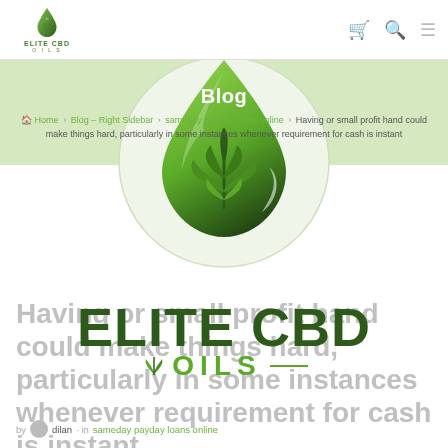[Figure (logo): Elite CBD Oils logo in header — small green droplet with cannabis leaf, text ELITE CBD OILS]
Elite CBD Oils navigation header with cart, search, and menu icons
[Figure (logo): Large Elite CBD Oils logo — green droplet shape with cannabis leaf inside, circular outline, centered on page]
Blog
Home › Blog – Right Sidebar › sameday payday loans online › Having or small profit hand could make things hard, particularly in some instances whenever requirement for cash is instant
Having or small profit hand could make things hard, particularly in some instances whenever requirement for cash is instant
[Figure (logo): ELITE CBD OILS brand name overlay — large dark green ELITE CBD text with green OILS and decorative leaf]
by dilan · in sameday payday loans online